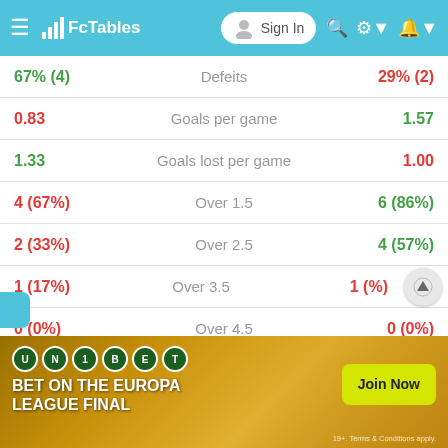FcTables — Sign In
| Left | Stat | Right |
| --- | --- | --- |
| 67% (4) | Defeits | 29% (2) |
| 0.83 | Goals per game | 1.57 |
| 1.33 | Goals lost per game | 1.00 |
| 4 (67%) | Over 1.5 | 6 (86%) |
| 2 (33%) | Over 2.5 | 4 (57%) |
| 1 (17%) | Over 3.5 | 1 (%) |
| 0 (0%) | Over 4.5 | 0 (0%) |
| 1 (17%) | BBTS | 4 (57%) |
| 1 (17%) | Clean sheets | 2 (29%) |
[Figure (infographic): Unibet advertisement banner: BET ON THE EUROPA LEAGUE FINAL — Join Now button]